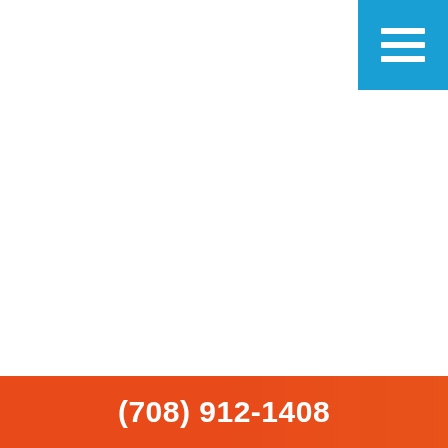[Figure (other): Blue square menu button in the top-right corner with three white horizontal lines (hamburger menu icon)]
(708) 912-1408